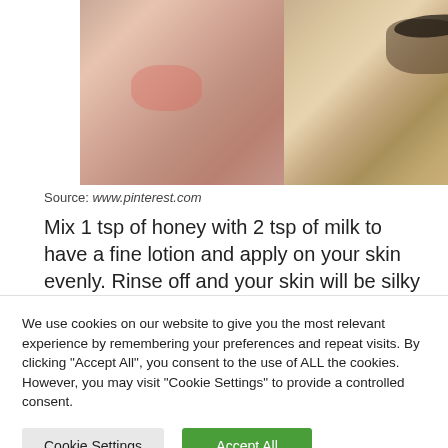[Figure (photo): Side-by-side before/after close-up photos of a woman's face showing skin condition (acne/redness on left, clear skin on right with blonde hair visible)]
Source: www.pinterest.com
Mix 1 tsp of honey with 2 tsp of milk to have a fine lotion and apply on your skin evenly. Rinse off and your skin will be silky
We use cookies on our website to give you the most relevant experience by remembering your preferences and repeat visits. By clicking "Accept All", you consent to the use of ALL the cookies. However, you may visit "Cookie Settings" to provide a controlled consent.